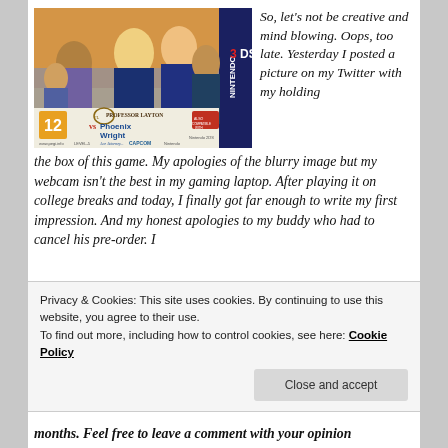[Figure (photo): Nintendo 3DS game box for Professor Layton vs Phoenix Wright: Ace Attorney, rated 12, published by Level-5, Capcom, and Nintendo]
So, let's not be creative and mind blowing. Oops, too late. Yesterday I posted a picture on my Twitter with my holding the box of this game. My apologies of the blurry image but my webcam isn't the best in my gaming laptop. After playing it on college breaks and today, I finally got far enough to write my first impression. And my honest apologies to my buddy who had to cancel his pre-order. I
Privacy & Cookies: This site uses cookies. By continuing to use this website, you agree to their use.
To find out more, including how to control cookies, see here: Cookie Policy
months. Feel free to leave a comment with your opinion